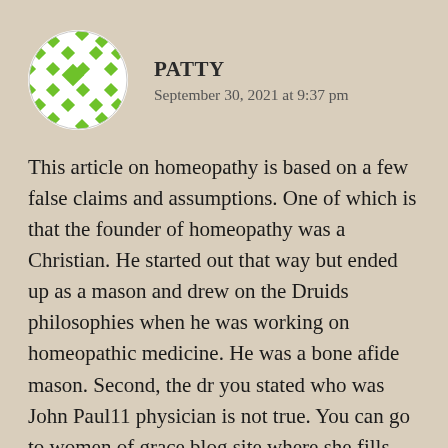[Figure (illustration): Round avatar/profile image with a green and white geometric diamond/lattice pattern on a white circular background]
PATTY
September 30, 2021 at 9:37 pm
This article on homeopathy is based on a few false claims and assumptions. One of which is that the founder of homeopathy was a Christian. He started out that way but ended up as a mason and drew on the Druids philosophies when he was working on homeopathic medicine. He was a bone afide mason. Second, the dr you stated who was John Paul11 physician is not true. You can go to women of grace blog site where she fills in the facts on every one of the...